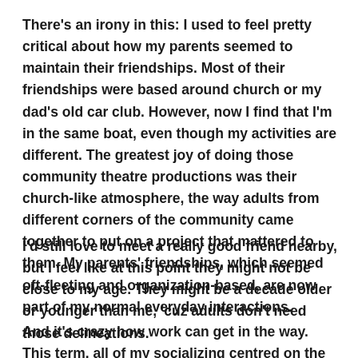There's an irony in this: I used to feel pretty critical about how my parents seemed to maintain their friendships. Most of their friendships were based around church or my dad's old car club. However, now I find that I'm in the same boat, even though my activities are different. The greatest joy of doing those community theatre productions was their church-like atmosphere, the way adults from different corners of the community came together to put on a project that mattered to them. My parents' friendships, which seemed oft-fleeting and organization-based, are now part of my normal everyday interactions.
I'd still love to meet a really good friend nearby, but I feel like at this point they might not be close to my age. They might be a decade older or younger than me, 'cuz adults don't need those delineations.
And it's crazy how work can get in the way. This term, all of my socializing centred on the play. Beyond that, I simply didn't have